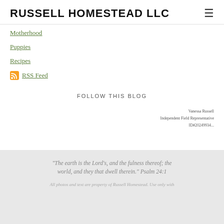RUSSELL HOMESTEAD LLC
Motherhood
Puppies
Recipes
RSS Feed
FOLLOW THIS BLOG
Vanessa Russell
Independent Field Representative
ID#20249934...
"The earth is the Lord's, and the fulness thereof; the world, and they that dwell therein." Psalm 24:1
All photos and text are property of Russell Homestead. Use only with